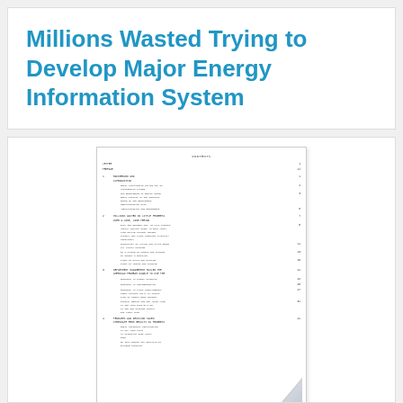Millions Wasted Trying to Develop Major Energy Information System
[Figure (other): Thumbnail image of a table of contents document page with multiple chapters and page numbers, with a page curl effect at the bottom right corner.]
Author : United States. General